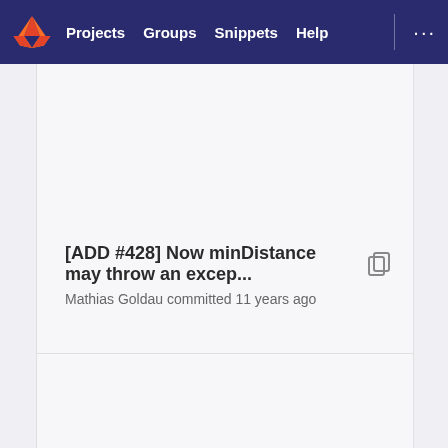Projects  Groups  Snippets  Help
[ADD #428] Now minDistance may throw an excep...
Mathias Goldau committed 11 years ago